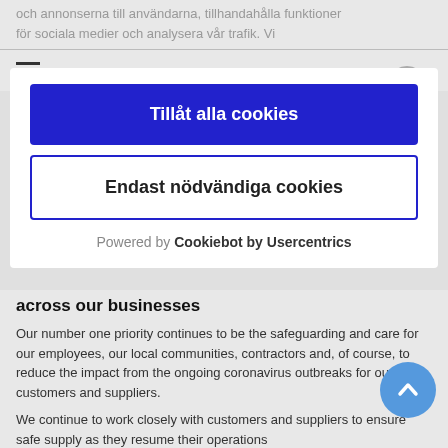och annonserna till användarna, tillhandahålla funktioner för sociala medier och analysera vår trafik. Vi
[Figure (screenshot): Cookie consent dialog overlay with two buttons: 'Tillåt alla cookies' (blue filled) and 'Endast nödvändiga cookies' (white with blue border), and 'Powered by Cookiebot by Usercentrics' footer text]
across our businesses
Our number one priority continues to be the safeguarding and care for our employees, our local communities, contractors and, of course, to reduce the impact from the ongoing coronavirus outbreaks for our customers and suppliers.
We continue to work closely with customers and suppliers to ensure safe supply as they resume their operations